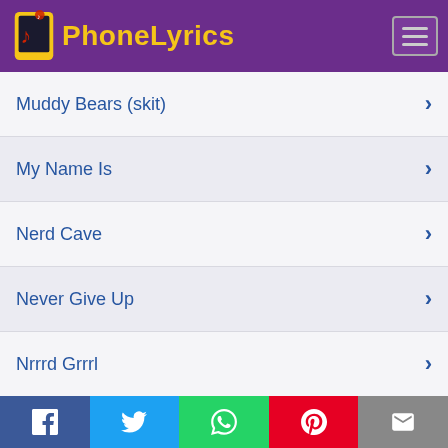PhoneLyrics
Muddy Bears (skit)
My Name Is
Nerd Cave
Never Give Up
Nrrrd Grrrl
Older Crowd
Omc
On The Road
Facebook | Twitter | WhatsApp | Pinterest | Email